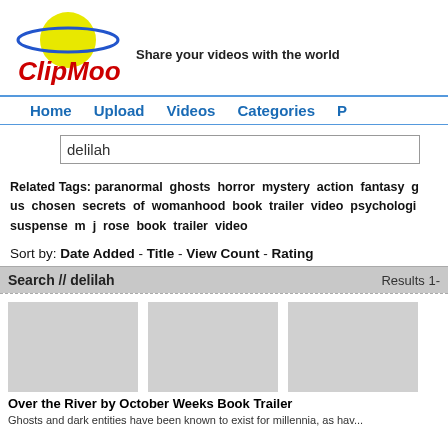[Figure (logo): ClipMoon logo with yellow planet/circle and blue ring, red text 'ClipMoon']
Share your videos with the world
Home  Upload  Videos  Categories  P...
delilah
Related Tags: paranormal ghosts horror mystery action fantasy g... us chosen secrets of womanhood book trailer video psychologi... suspense m j rose book trailer video
Sort by: Date Added - Title - View Count - Rating
Search // delilah    Results 1-...
[Figure (photo): Video thumbnail placeholder (gray rectangle)]
[Figure (photo): Video thumbnail placeholder (gray rectangle)]
[Figure (photo): Video thumbnail placeholder (gray rectangle)]
Over the River by October Weeks Book Trailer
Ghosts and dark entities have been known to exist for millennia, as hav...